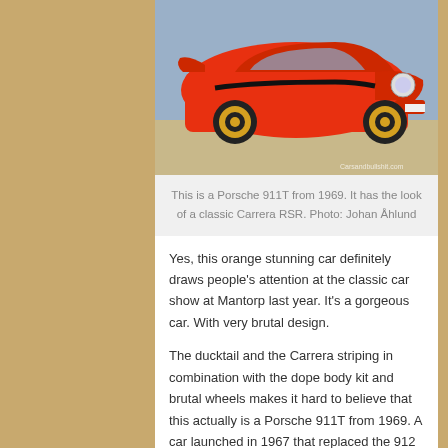[Figure (photo): Orange Porsche 911T from 1969 with yellow wheels and Carrera RSR styling, photographed at a slight angle showing the front and side. Watermark: Carsandbullshit.com]
This is a Porsche 911T from 1969. It has the look of a classic Carrera RSR. Photo: Johan Åhlund
Yes, this orange stunning car definitely draws people's attention at the classic car show at Mantorp last year. It's a gorgeous car. With very brutal design.
The ducktail and the Carrera striping in combination with the dope body kit and brutal wheels makes it hard to believe that this actually is a Porsche 911T from 1969. A car launched in 1967 that replaced the 912 and introduced as the new entry level Porsche. The 911T is not a powerhouse, but the little two liter engine with its puny 110 horsepower has both the right sound and character.